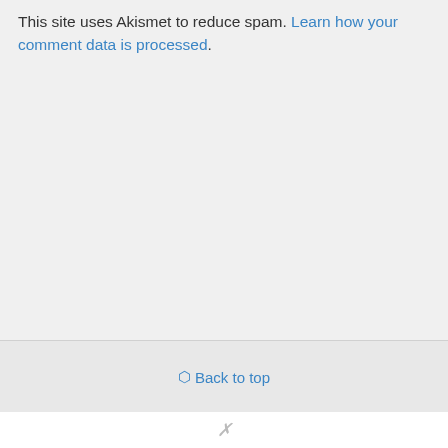This site uses Akismet to reduce spam. Learn how your comment data is processed.
⬡ Back to top